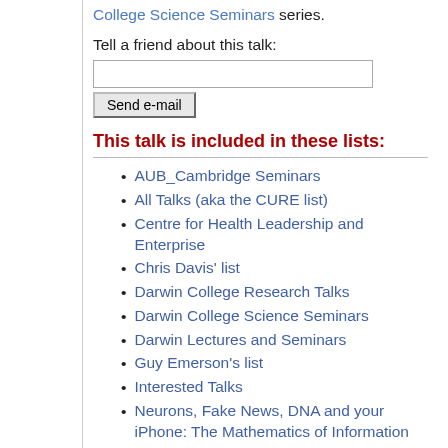College Science Seminars series.
Tell a friend about this talk:
This talk is included in these lists:
AUB_Cambridge Seminars
All Talks (aka the CURE list)
Centre for Health Leadership and Enterprise
Chris Davis' list
Darwin College Research Talks
Darwin College Science Seminars
Darwin Lectures and Seminars
Guy Emerson's list
Interested Talks
Neurons, Fake News, DNA and your iPhone: The Mathematics of Information
The Richard King Roo...